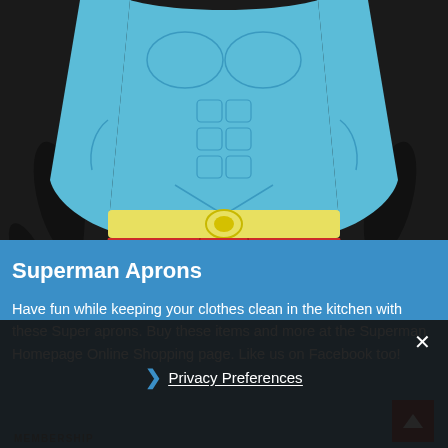[Figure (illustration): Superman torso illustration showing blue suit, yellow belt with circular buckle, and red shorts/briefs, on a black apron background]
Superman Aprons
Have fun while keeping your clothes clean in the kitchen with these Super aprons. Buy these items and more at the Superman Homepage Online Shopping page. Like us on Facebook too!
× Privacy Preferences
I Agree
MEMBERSHIP